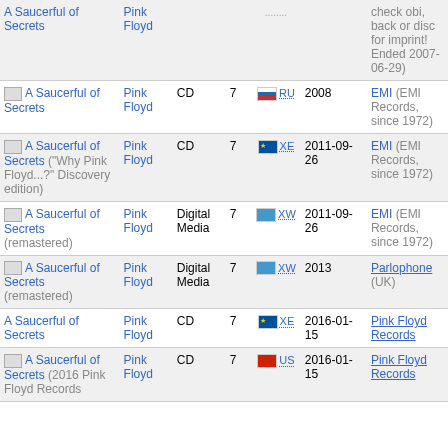| Title | Artist | Format | Tracks | Country | Date | Label |
| --- | --- | --- | --- | --- | --- | --- |
| A Saucerful of Secrets | Pink Floyd | CD | 7 | RU | 2008 | EMI (EMI Records, since 1972) |
| A Saucerful of Secrets ("Why Pink Floyd...?" Discovery edition) | Pink Floyd | CD | 7 | XE | 2011-09-26 | EMI (EMI Records, since 1972) |
| A Saucerful of Secrets (remastered) | Pink Floyd | Digital Media | 7 | XW | 2011-09-26 | EMI (EMI Records, since 1972) |
| A Saucerful of Secrets (remastered) | Pink Floyd | Digital Media | 7 | XW | 2013 | Parlophone (UK) |
| A Saucerful of Secrets | Pink Floyd | CD | 7 | XE | 2016-01-15 | Pink Floyd Records |
| A Saucerful of Secrets (2016 Pink Floyd Records | Pink Floyd | CD | 7 | US | 2016-01-15 | Pink Floyd Records |